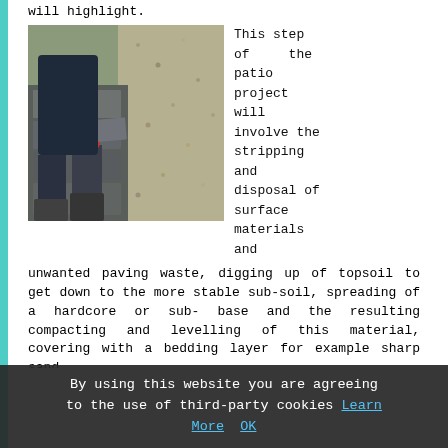will highlight.
[Figure (photo): Person wearing red gloves laying paving slabs/stones on a patio, with gravel visible in the background.]
This step of the patio project will involve the stripping and disposal of surface materials and unwanted paving waste, digging up of topsoil to get down to the more stable sub-soil, spreading of a hardcore or sub-base and the resulting compacting and levelling of this material, covering with a bedding layer for example sharp sand.
Paving the Area: When everything has been got ready the patio builder will start installing the patio slabs, precisely how this process proceeds will depend upon the types of materials you have chosen, and might be
By using this website you are agreeing to the use of third-party cookies Learn More OK